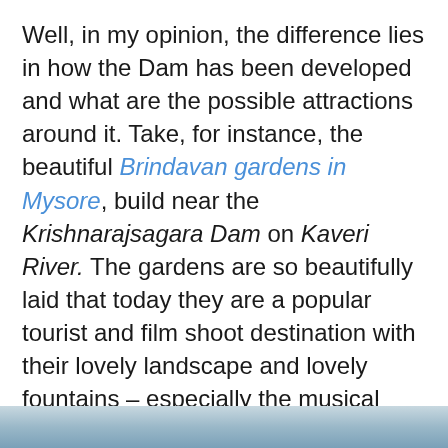Well, in my opinion, the difference lies in how the Dam has been developed and what are the possible attractions around it. Take, for instance, the beautiful Brindavan gardens in Mysore, build near the Krishnarajsagara Dam on Kaveri River. The gardens are so beautifully laid that today they are a popular tourist and film shoot destination with their lovely landscape and lovely fountains – especially the musical fountain. The draw of the musical fountain is so popular that you will find tourists hanging around or planning a visit to the garden just to attend the show. Given this example, I do believe some Dams are definitely worth a visit.
[Figure (photo): A partial photo strip at the bottom of the page showing a sky/landscape scene in blue-grey tones]